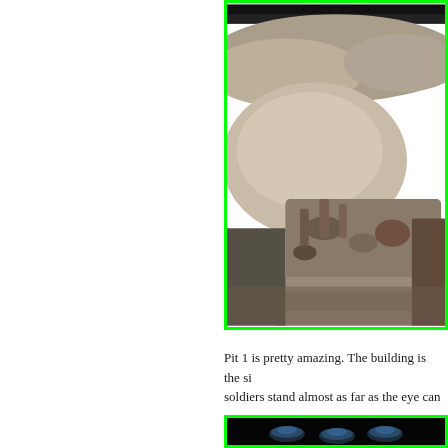[Figure (photo): Close-up photograph of an archaeological excavation pit showing exposed terracotta warriors in various states of excavation, surrounded by sandy soil and rubble. The image is taken from above at an angle showing broken and partial figures emerging from the earth.]
Pit 1 is pretty amazing. The building is the si... soldiers stand almost as far as the eye can se...
[Figure (photo): Dark photograph showing what appears to be archaeological artifacts or objects in low lighting conditions.]